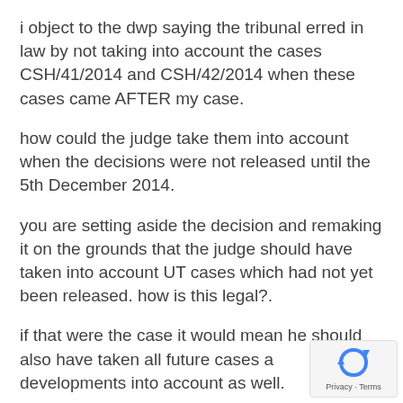i object to the dwp saying the tribunal erred in law by not taking into account the cases CSH/41/2014 and CSH/42/2014 when these cases came AFTER my case.
how could the judge take them into account when the decisions were not released until the 5th December 2014.
you are setting aside the decision and remaking it on the grounds that the judge should have taken into account UT cases which had not yet been released. how is this legal?.
if that were the case it would mean he should also have taken all future cases and developments into account as well.